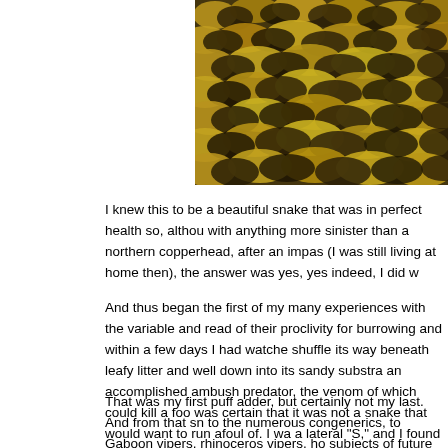[Figure (photo): Close-up photograph of snake scales, showing yellow/gold and dark brown/black patterned scales, cropped to show texture detail]
I knew this to be a beautiful snake that was in perfect health so, althou with anything more sinister than a northern copperhead, after an impas (I was still living at home then), the answer was yes, yes indeed, I did w
And thus began the first of my many experiences with the variable and read of their proclivity for burrowing and within a few days I had watche shuffle its way beneath leafy litter and well down into its sandy substra an accomplished ambush predator, the venom of which could kill a foo was certain that it was not a snake that would want to run afoul of. I wa a lateral "S," and I found that it could strike quickly and accurately to ei for a few inches straight up.
That was my first puff adder, but certainly not my last. And from that sn to the numerous congenerics, to Gaboon vipers, rhinoceros vipers, ho subjects of future posts!